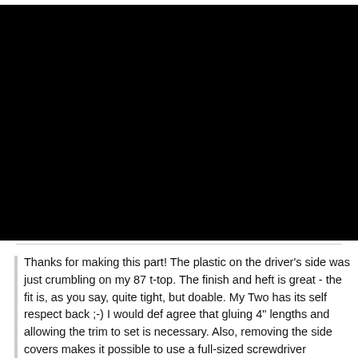[Figure (other): Black area representing a product image or video embed area at the top of the page]
Add to Cart
Thanks for making this part! The plastic on the driver's side was just crumbling on my 87 t-top. The finish and heft is great - the fit is, as you say, quite tight, but doable. My Two has its self respect back ;-) I would def agree that gluing 4" lengths and allowing the trim to set is necessary. Also, removing the side covers makes it possible to use a full-sized screwdriver